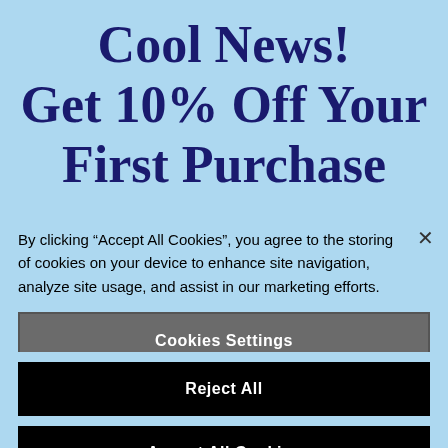Cool News! Get 10% Off Your First Purchase
By clicking “Accept All Cookies”, you agree to the storing of cookies on your device to enhance site navigation, analyze site usage, and assist in our marketing efforts.
Cookies Settings
Reject All
Accept All Cookies